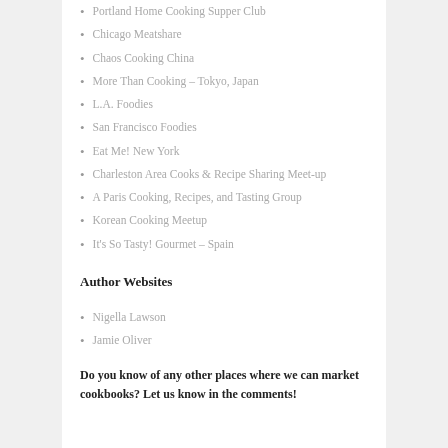Portland Home Cooking Supper Club
Chicago Meatshare
Chaos Cooking China
More Than Cooking – Tokyo, Japan
L.A. Foodies
San Francisco Foodies
Eat Me! New York
Charleston Area Cooks & Recipe Sharing Meet-up
A Paris Cooking, Recipes, and Tasting Group
Korean Cooking Meetup
It's So Tasty! Gourmet – Spain
Author Websites
Nigella Lawson
Jamie Oliver
Do you know of any other places where we can market cookbooks? Let us know in the comments!